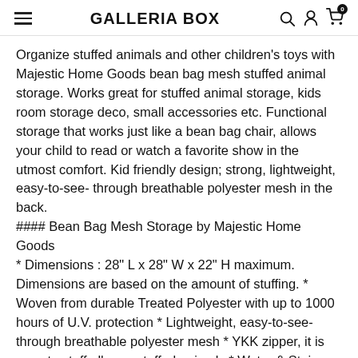GALLERIA BOX
Organize stuffed animals and other children's toys with Majestic Home Goods bean bag mesh stuffed animal storage. Works great for stuffed animal storage, kids room storage deco, small accessories etc. Functional storage that works just like a bean bag chair, allows your child to read or watch a favorite show in the utmost comfort. Kid friendly design; strong, lightweight, easy-to-see- through breathable polyester mesh in the back.
#### Bean Bag Mesh Storage by Majestic Home Goods
* Dimensions : 28" L x 28" W x 22" H maximum. Dimensions are based on the amount of stuffing. * Woven from durable Treated Polyester with up to 1000 hours of U.V. protection * Lightweight, easy-to-see-through breathable polyester mesh * YKK zipper, it is easy to stuff all your stuffed animals * Water & Stain Resistance * Works just like a bean bag chair * Highest Quality and Durability * Assembled in the USA * Machine washable